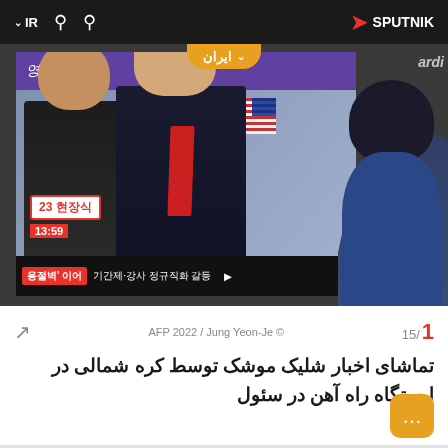IR  SPUTNIK
[Figure (photo): A person watching a TV news broadcast showing Kim Jong-un and Donald Trump, with Korean text on screen including time 13:59 and news ticker text '용절벽' 이어 기간제·강사 정규직화 갈등. The TV screen shows Korean news channel with purple Guardian banner overlay and Korean text '영국 가디언' and '미국 스트'. Badge shows '23 현장식'.]
AFP 2022 / Jung Yeon-Je © 15/ 1
تماشای اخبار شلیک موشک توسط کره شمالی در ایستگاه راه آهن در سئول